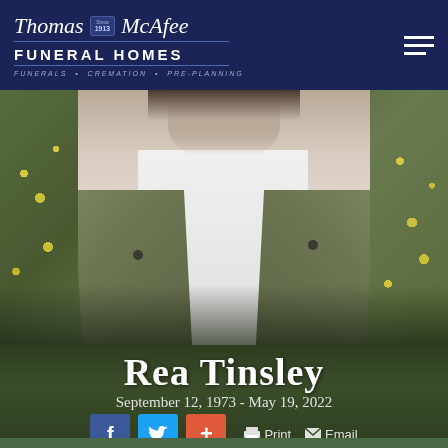Thomas McAfee Funeral Homes - Funerals • Cremation • Pre-Planning
[Figure (photo): Close-up photo of a person wearing a white shirt under an olive/khaki jacket, with yellow flowers visible in the background]
Rea Tinsley
September 12, 1973 - May 19, 2022
f  [Twitter]  +  [Print]  [Email]